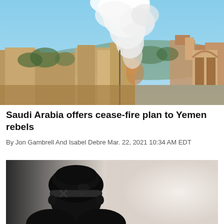[Figure (photo): Smoke plume rising over buildings and rooftops in a Middle Eastern town, with sandy stone structures and a blue sky.]
Saudi Arabia offers cease-fire plan to Yemen rebels
By Jon Gambrell And Isabel Debre Mar. 22, 2021 10:34 AM EDT
[Figure (photo): A person seen from behind wearing a black head covering and tactical headgear, with a blurred light background.]